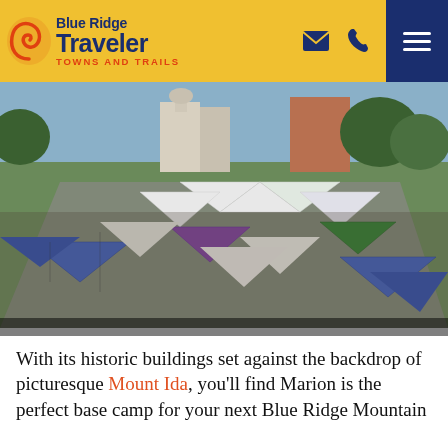Blue Ridge Traveler — Towns and Trails
[Figure (photo): Aerial view of a crowded outdoor street festival with many white and colorful vendor tents lining a main street in a small historic American town, with historic brick and white buildings visible in the background and trees.]
With its historic buildings set against the backdrop of picturesque Mount Ida, you'll find Marion is the perfect base camp for your next Blue Ridge Mountain